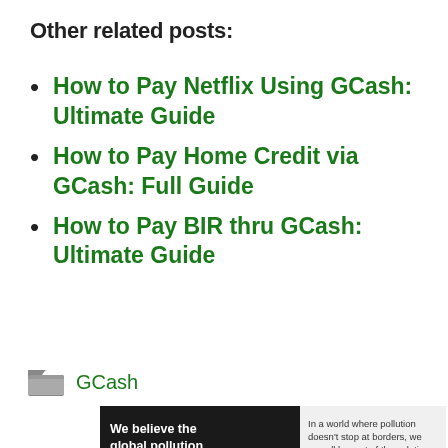Other related posts:
How to Pay Netflix Using GCash: Ultimate Guide
How to Pay Home Credit via GCash: Full Guide
How to Pay BIR thru GCash: Ultimate Guide
GCash
[Figure (infographic): Pure Earth advertisement banner: 'We believe the global pollution crisis can be solved.' with text about pollution not stopping at borders and JOIN US call to action, alongside Pure Earth logo.]